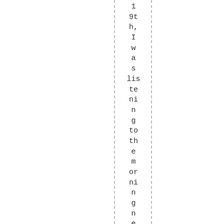19th, I was listening to the morning news, when the